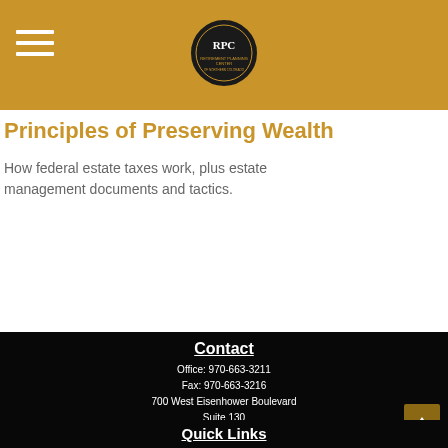[Figure (logo): RPC logo circle with hamburger menu on gold header background]
Principles of Preserving Wealth
How federal estate taxes work, plus estate management documents and tactics.
Contact
Office: 970-663-3211
Fax: 970-663-3216
700 West Eisenhower Boulevard
Suite 130
Loveland, CO 80537
info@rpcenter.com
[Figure (logo): Social media icons: Facebook, LinkedIn, YouTube]
Quick Links